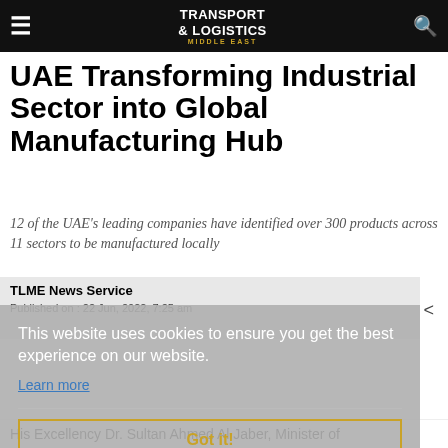TRANSPORT & LOGISTICS MIDDLE EAST
UAE Transforming Industrial Sector into Global Manufacturing Hub
12 of the UAE's leading companies have identified over 300 products across 11 sectors to be manufactured locally
TLME News Service
Published on : 22 Jun, 2022, 7:25 am
This website uses cookies to ensure you get the best experience on our website.
Learn more
Got it!
His Excellency Dr. Sultan Ahmed Al Jaber, Minister of